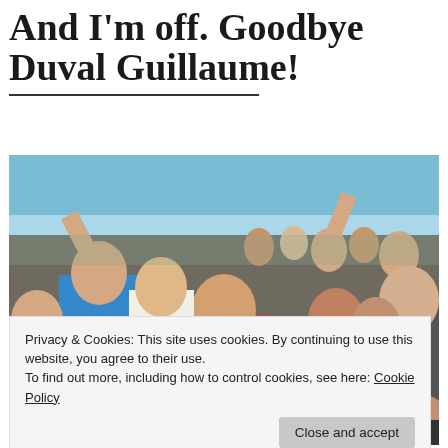And I'm off. Goodbye Duval Guillaume!
[Figure (photo): Group photo of a large crowd of people celebrating, holding golden lion/trophy awards, smiling and cheering, taken at what appears to be an advertising awards event such as Cannes Lions.]
Privacy & Cookies: This site uses cookies. By continuing to use this website, you agree to their use.
To find out more, including how to control cookies, see here: Cookie Policy